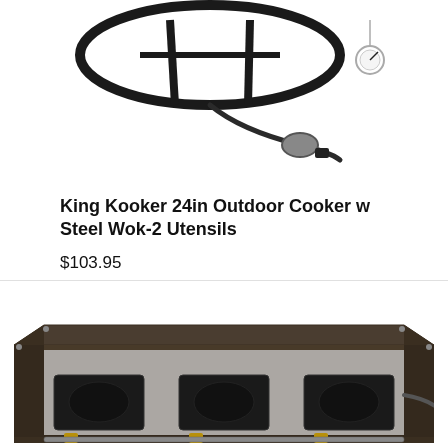[Figure (photo): Partial product photo of King Kooker 24in Outdoor Cooker with steel wok and utensils, showing burner ring, hose, regulator, and thermometer on white background]
King Kooker 24in Outdoor Cooker w Steel Wok-2 Utensils
$103.95
[Figure (photo): Product photo of a three-burner outdoor camp stove with dark metal frame, showing three burner heads with brass fittings, partially cropped at bottom]